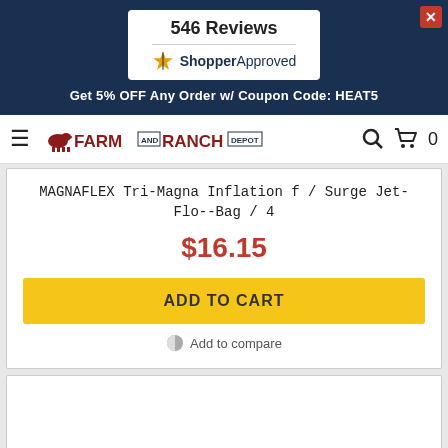[Figure (screenshot): 546 Reviews badge with Shopper Approved logo in a white box on dark navy background]
Get 5% OFF Any Order w/ Coupon Code: HEAT5
[Figure (logo): Farm and Ranch Depot logo with cow icon, navigation hamburger menu, search icon, and cart icon with 0 count]
MAGNAFLEX Tri-Magna Inflation f / Surge Jet-Flo--Bag / 4
$16.15
ADD TO CART
Add to compare